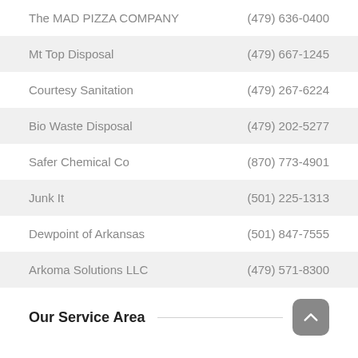The MAD PIZZA COMPANY | (479) 636-0400
Mt Top Disposal | (479) 667-1245
Courtesy Sanitation | (479) 267-6224
Bio Waste Disposal | (479) 202-5277
Safer Chemical Co | (870) 773-4901
Junk It | (501) 225-1313
Dewpoint of Arkansas | (501) 847-7555
Arkoma Solutions LLC | (479) 571-8300
Our Service Area